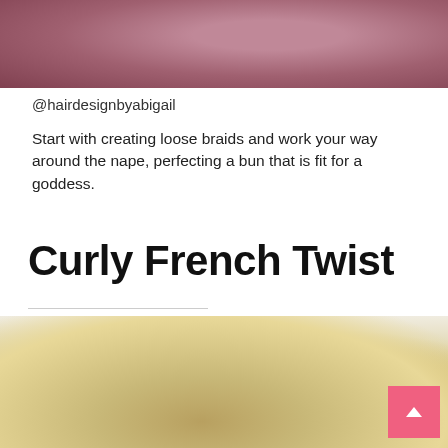[Figure (photo): Close-up photo of a dark mauve/dusty rose colored hair bun updo, partial top crop]
@hairdesignbyabigail
Start with creating loose braids and work your way around the nape, perfecting a bun that is fit for a goddess.
Curly French Twist
[Figure (photo): Photo of a blonde curly French twist updo hairstyle, viewed from above/behind, with a pink scroll-to-top button in the lower right corner]